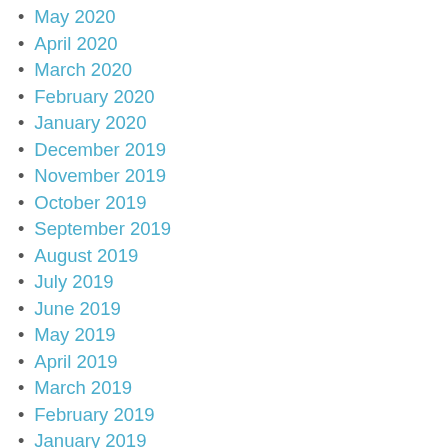May 2020
April 2020
March 2020
February 2020
January 2020
December 2019
November 2019
October 2019
September 2019
August 2019
July 2019
June 2019
May 2019
April 2019
March 2019
February 2019
January 2019
December 2018
November 2018
October 2018